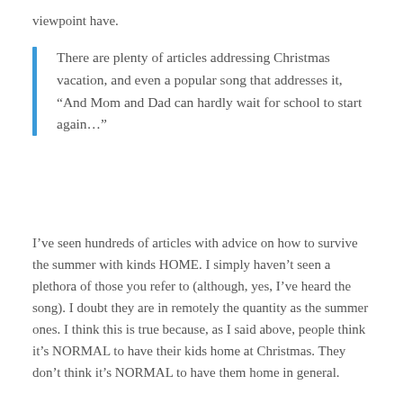viewpoint have.
There are plenty of articles addressing Christmas vacation, and even a popular song that addresses it, “And Mom and Dad can hardly wait for school to start again…”
I’ve seen hundreds of articles with advice on how to survive the summer with kinds HOME. I simply haven’t seen a plethora of those you refer to (although, yes, I’ve heard the song). I doubt they are in remotely the quantity as the summer ones. I think this is true because, as I said above, people think it’s NORMAL to have their kids home at Christmas. They don’t think it’s NORMAL to have them home in general.